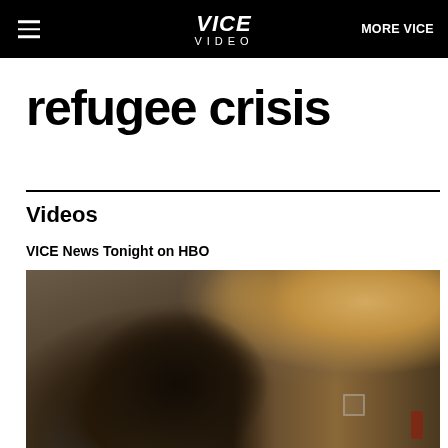VICE VIDEO   MORE VICE
refugee crisis
Videos
VICE News Tonight on HBO
[Figure (photo): A young Black man in a grey t-shirt looking sideways, with a refugee shelter/camp setting visible in the background with wooden structures and a plastic chair. The scene is photographed at dusk/low light.]